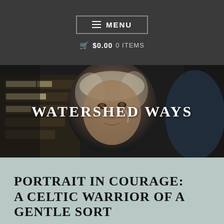≡ MENU
🛒 $0.00 0 ITEMS
[Figure (photo): Dark-toned photo of an older person with light hair, appearing to be in a workshop or storage area with shelves visible in the background. The image has a warm, slightly dark tone.]
WATERSHED WAYS
PORTRAIT IN COURAGE: A CELTIC WARRIOR OF A GENTLE SORT